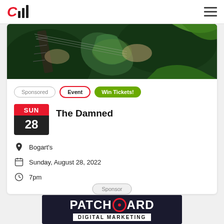CIII (logo) | hamburger menu
[Figure (illustration): Green-toned concert illustration showing guitar player hands on electric guitar against dark green background]
Sponsored | Event | Win Tickets!
The Damned
SUN 28
Bogart's
Sunday, August 28, 2022
7pm
Sponsor
[Figure (logo): Patchboard Digital Marketing advertisement logo on dark background]